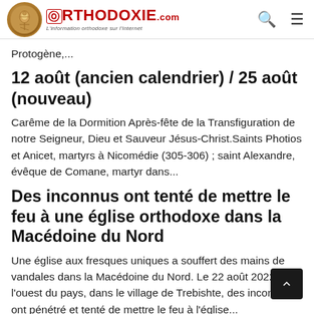Orthodoxie.com — L'information orthodoxe sur l'Internet
Protogène,...
12 août (ancien calendrier) / 25 août (nouveau)
Carême de la Dormition Après-fête de la Transfiguration de notre Seigneur, Dieu et Sauveur Jésus-Christ.Saints Photios et Anicet, martyrs à Nicomédie (305-306) ; saint Alexandre, évêque de Comane, martyr dans...
Des inconnus ont tenté de mettre le feu à une église orthodoxe dans la Macédoine du Nord
Une église aux fresques uniques a souffert des mains de vandales dans la Macédoine du Nord. Le 22 août 2022 dans l'ouest du pays, dans le village de Trebishte, des inconnus ont pénétré et tenté de mettre le feu à l'église...
Fête du saint Côme de l'Etolique. Allocution...